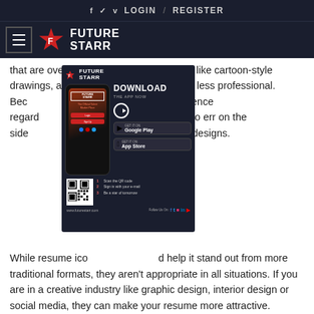f  ✓  v  LOGIN / REGISTER
[Figure (logo): FutureStarr logo with star icon on dark navy background with hamburger menu icon]
that are overly intricate or those that look like cartoon-style drawings, as they me appear less professional. Because it's always best to err on the side professional-looking designs.
[Figure (screenshot): FutureStarr app advertisement showing a phone mockup with download prompt, Google Play and App Store buttons, QR code, and steps to get started. URL: www.futurestarr.com]
While resume ico d help it stand out from more traditional formats, they aren't appropriate in all situations. If you are in a creative industry like graphic design, interior design or social media, they can make your resume more attractive. However, in other industries, such as finance or accounting, they can be distracting and even unprofessional. In these industries, it's best to go with a traditional resume format and leave off the resume icons. (Source: www.indeed.com)